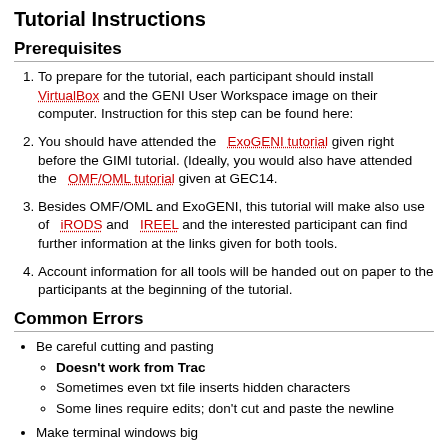Tutorial Instructions
Prerequisites
To prepare for the tutorial, each participant should install VirtualBox and the GENI User Workspace image on their computer. Instruction for this step can be found here:
You should have attended the ExoGENI tutorial given right before the GIMI tutorial. (Ideally, you would also have attended the OMF/OML tutorial given at GEC14.
Besides OMF/OML and ExoGENI, this tutorial will make also use of iRODS and IREEL and the interested participant can find further information at the links given for both tools.
Account information for all tools will be handed out on paper to the participants at the beginning of the tutorial.
Common Errors
Be careful cutting and pasting
Doesn't work from Trac
Sometimes even txt file inserts hidden characters
Some lines require edits; don't cut and paste the newline
Make terminal windows big
Sometimes terminal gets corrupted when pasting a